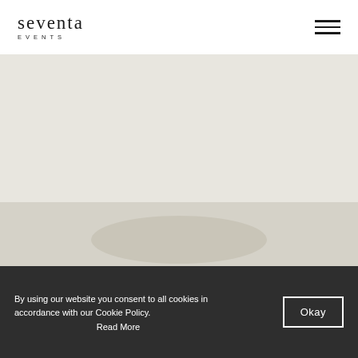[Figure (logo): Seventa Events logo — 'seventa' in serif font, 'EVENTS' in small caps below]
[Figure (illustration): Hamburger menu icon — three horizontal lines, top right of header]
[Figure (photo): Large hero image area showing a light warm grey background with a partial view of a plate/dish at the bottom]
By using our website you consent to all cookies in accordance with our Cookie Policy.
Read More
Okay